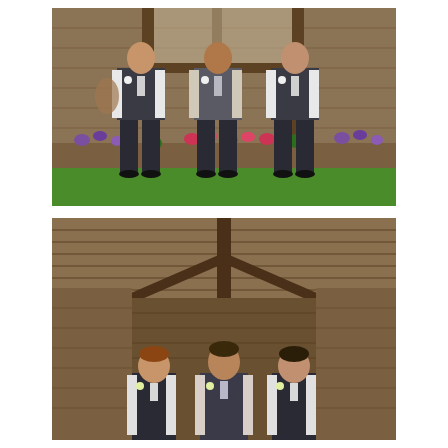[Figure (photo): Three groomsmen standing outdoors in front of a wooden barn structure. They are wearing dark charcoal/grey vests over white dress shirts with ties and boutonnieres. Flower boxes with purple and pink flowers are visible at their feet on a green grass lawn.]
[Figure (photo): Three groomsmen standing inside a rustic wooden barn. The barn's wooden beams and ceiling are visible above them. The men are wearing dark vests over light shirts with boutonnieres, smiling at the camera.]